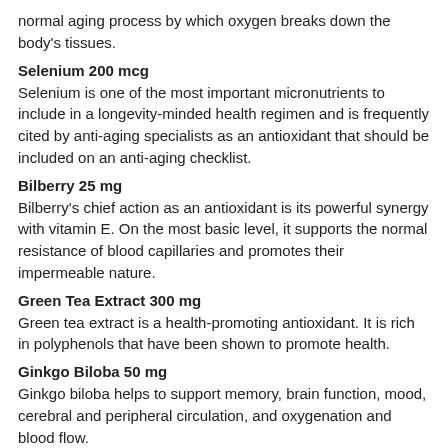normal aging process by which oxygen breaks down the body's tissues.
Selenium 200 mcg
Selenium is one of the most important micronutrients to include in a longevity-minded health regimen and is frequently cited by anti-aging specialists as an antioxidant that should be included on an anti-aging checklist.
Bilberry 25 mg
Bilberry's chief action as an antioxidant is its powerful synergy with vitamin E. On the most basic level, it supports the normal resistance of blood capillaries and promotes their impermeable nature.
Green Tea Extract 300 mg
Green tea extract is a health-promoting antioxidant. It is rich in polyphenols that have been shown to promote health.
Ginkgo Biloba 50 mg
Ginkgo biloba helps to support memory, brain function, mood, cerebral and peripheral circulation, and oxygenation and blood flow.
Milk Thistle 50 mg
Milk thistle is used to promote liver health. Contains some of the most potent liver-supporting substances known. Protects against free radicals by acting as an antioxidant, protecting the liver. Supports the normal production of new liver cells.